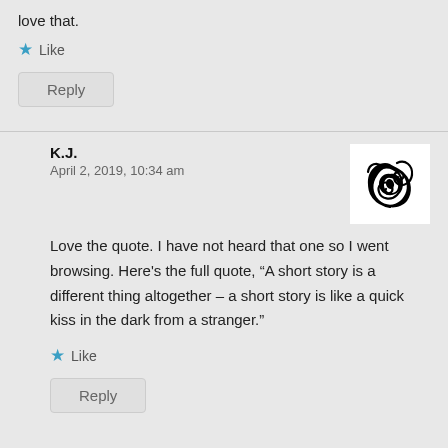love that.
★ Like
Reply
K.J.
April 2, 2019, 10:34 am
[Figure (logo): Black tribal swirl logo on white square background]
Love the quote. I have not heard that one so I went browsing. Here's the full quote, “A short story is a different thing altogether – a short story is like a quick kiss in the dark from a stranger.”
★ Like
Reply